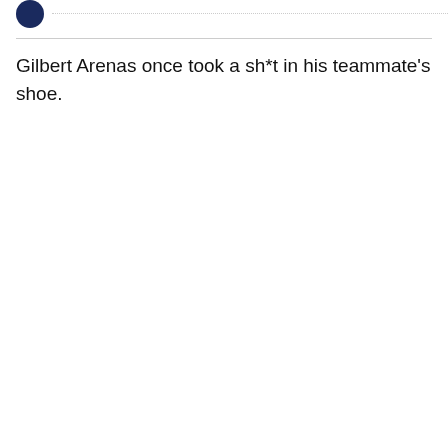Gilbert Arenas once took a sh*t in his teammate's shoe.